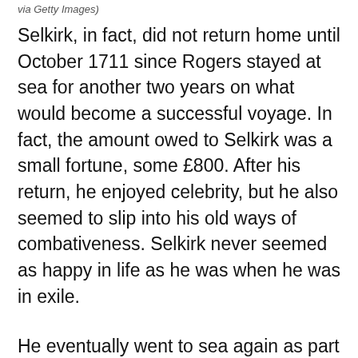via Getty Images)
Selkirk, in fact, did not return home until October 1711 since Rogers stayed at sea for another two years on what would become a successful voyage. In fact, the amount owed to Selkirk was a small fortune, some £800. After his return, he enjoyed celebrity, but he also seemed to slip into his old ways of combativeness. Selkirk never seemed as happy in life as he was when he was in exile.
He eventually went to sea again as part of a pirate-hunting voyage but succumbed to yellow fever off the coast of West Africa on